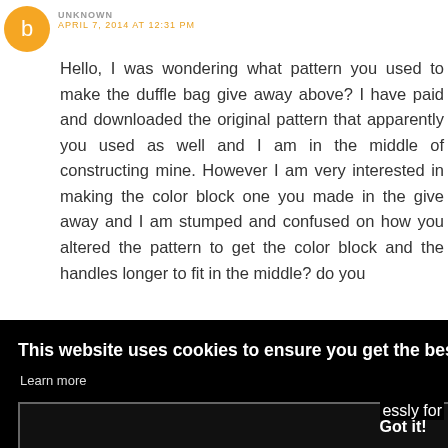UNKNOWN APRIL 7, 2014 AT 12:31 PM
Hello, I was wondering what pattern you used to make the duffle bag give away above? I have paid and downloaded the original pattern that apparently you used as well and I am in the middle of constructing mine. However I am very interested in making the color block one you made in the give away and I am stumped and confused on how you altered the pattern to get the color block and the handles longer to fit in the middle? do you
y to my
REPLY
This website uses cookies to ensure you get the best experience on our website. Learn more
Got it!
essly for
the perfect Travel Bag Pattern and I think I have finally